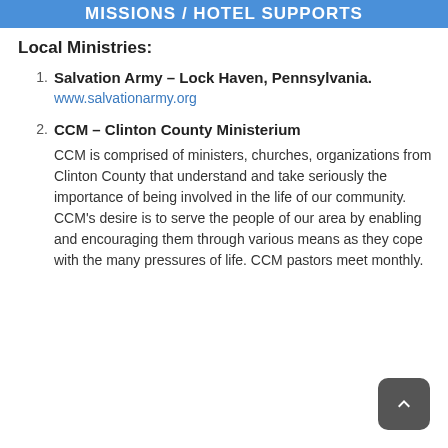MISSIONS / HOTEL SUPPORTS
Local Ministries:
1. Salvation Army – Lock Haven, Pennsylvania. www.salvationarmy.org
2. CCM – Clinton County Ministerium
CCM is comprised of ministers, churches, organizations from Clinton County that understand and take seriously the importance of being involved in the life of our community. CCM's desire is to serve the people of our area by enabling and encouraging them through various means as they cope with the many pressures of life. CCM pastors meet monthly.